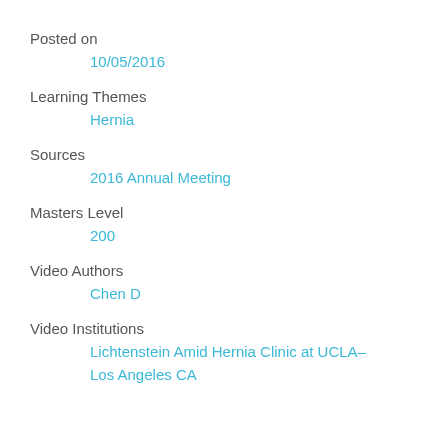Posted on
10/05/2016
Learning Themes
Hernia
Sources
2016 Annual Meeting
Masters Level
200
Video Authors
Chen D
Video Institutions
Lichtenstein Amid Hernia Clinic at UCLA–Los Angeles CA